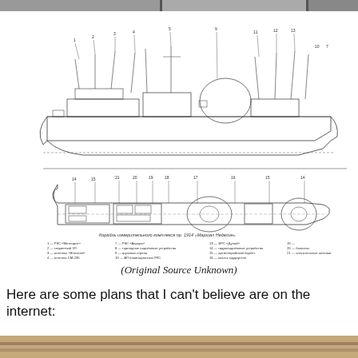[Figure (photo): Partial photograph visible at top of page, showing interior room scene, cropped.]
[Figure (schematic): Technical schematic diagram of a Soviet naval vessel (Project 1914 'Marshal Nedelin' class ship). Shows side elevation view and top/plan view cross-section of the ship with numbered component callouts. Russian text legend below the diagram labels components 1-21 including radar systems, antennas, torpedo equipment, and other ship systems. Caption reads: Корабль измерительного комплекса пр. 1914 'Маршал Неделин'. Legend entries numbered 1-21 with Russian text descriptions.]
(Original Source Unknown)
Here are some plans that I can't believe are on the internet: